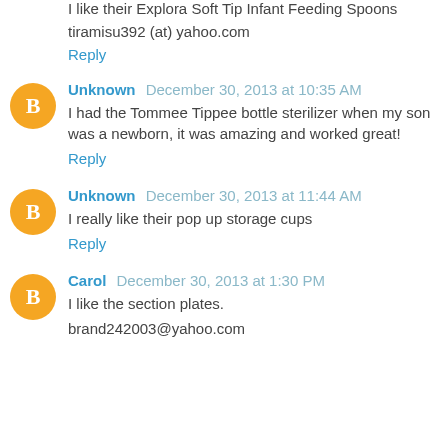I like their Explora Soft Tip Infant Feeding Spoons
tiramisu392 (at) yahoo.com
Reply
Unknown  December 30, 2013 at 10:35 AM
I had the Tommee Tippee bottle sterilizer when my son was a newborn, it was amazing and worked great!
Reply
Unknown  December 30, 2013 at 11:44 AM
I really like their pop up storage cups
Reply
Carol  December 30, 2013 at 1:30 PM
I like the section plates.
brand242003@yahoo.com